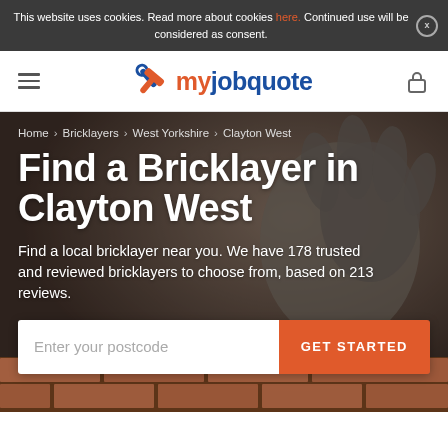This website uses cookies. Read more about cookies here. Continued use will be considered as consent.
[Figure (logo): myjobquote logo with wrench/hammer icon in blue and red, site navigation bar with hamburger menu and lock icon]
Home > Bricklayers > West Yorkshire > Clayton West
Find a Bricklayer in Clayton West
Find a local bricklayer near you. We have 178 trusted and reviewed bricklayers to choose from, based on 213 reviews.
[Figure (photo): Background photo of a gloved hand laying bricks, dark work glove, terracotta bricks visible]